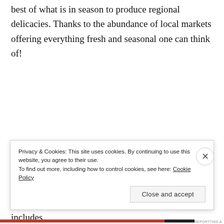best of what is in season to produce regional delicacies. Thanks to the abundance of local markets offering everything fresh and seasonal one can think of!
Well, and they seem quite religious about their regional diets…Take for example, the Italians, Greeks and Spanish who live off their Mediterranean diet and in turn enjoy long healthy lives.  Their diet includes
Privacy & Cookies: This site uses cookies. By continuing to use this website, you agree to their use.
To find out more, including how to control cookies, see here: Cookie Policy